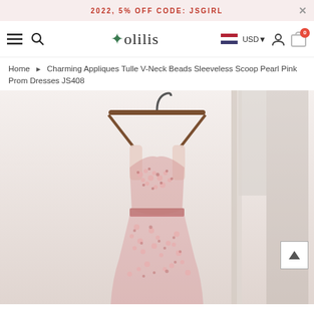2022, 5% OFF CODE: JSGIRL
[Figure (logo): Solilis brand logo with green leaf icon]
Home > Charming Appliques Tulle V-Neck Beads Sleeveless Scoop Pearl Pink Prom Dresses JS408
[Figure (photo): Pearl pink prom dress with appliques and beads hanging on a wooden hanger against a bright window background]